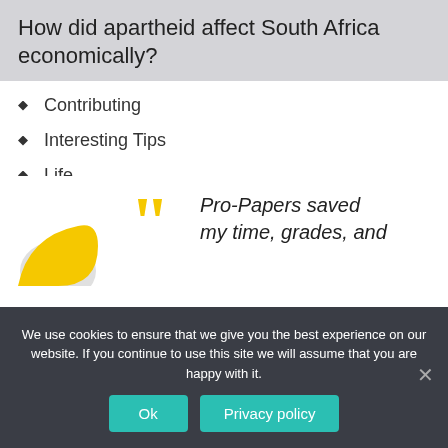How did apartheid affect South Africa economically?
Contributing
Interesting Tips
Life
Mixed
Most popular
[Figure (illustration): Yellow decorative shape on left with large yellow quotation marks, followed by italic text: Pro-Papers saved my time, grades, and]
We use cookies to ensure that we give you the best experience on our website. If you continue to use this site we will assume that you are happy with it.